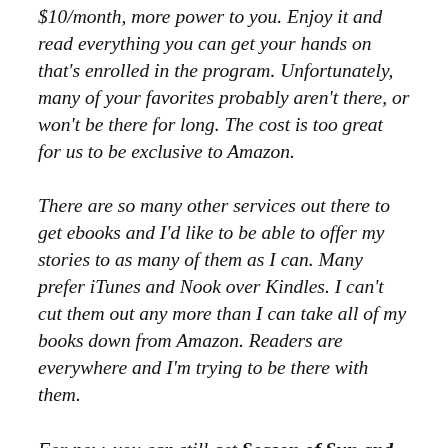... doing an unlimited number of books for $10/month, more power to you. Enjoy it and read everything you can get your hands on that's enrolled in the program. Unfortunately, many of your favorites probably aren't there, or won't be there for long. The cost is too great for us to be exclusive to Amazon.
There are so many other services out there to get ebooks and I'd like to be able to offer my stories to as many of them as I can. Many prefer iTunes and Nook over Kindles. I can't cut them out any more than I can take all of my books down from Amazon. Readers are everywhere and I'm trying to be there with them.
For now, you can still get Season of Sun and Sin